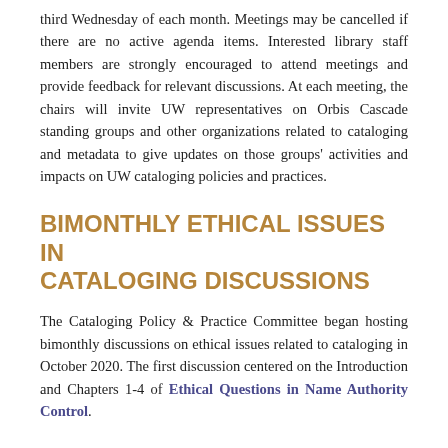third Wednesday of each month. Meetings may be cancelled if there are no active agenda items. Interested library staff members are strongly encouraged to attend meetings and provide feedback for relevant discussions. At each meeting, the chairs will invite UW representatives on Orbis Cascade standing groups and other organizations related to cataloging and metadata to give updates on those groups' activities and impacts on UW cataloging policies and practices.
BIMONTHLY ETHICAL ISSUES IN CATALOGING DISCUSSIONS
The Cataloging Policy & Practice Committee began hosting bimonthly discussions on ethical issues related to cataloging in October 2020. The first discussion centered on the Introduction and Chapters 1-4 of Ethical Questions in Name Authority Control.
CONTACT
uwlib-cppc@uw.edu